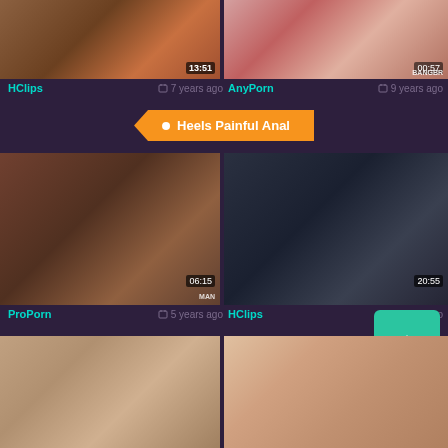[Figure (screenshot): Video thumbnail top-left with duration 13:51]
[Figure (screenshot): Video thumbnail top-right with duration 00:57 and BANGBR watermark]
HClips   7 years ago
AnyPorn   9 years ago
Heels Painful Anal
[Figure (screenshot): Video thumbnail middle-left with duration 06:15 and MAN watermark]
[Figure (screenshot): Video thumbnail middle-right with duration 20:55]
ProPorn   5 years ago
HClips   7 years ago
[Figure (screenshot): Video thumbnail bottom-left]
[Figure (screenshot): Video thumbnail bottom-right]